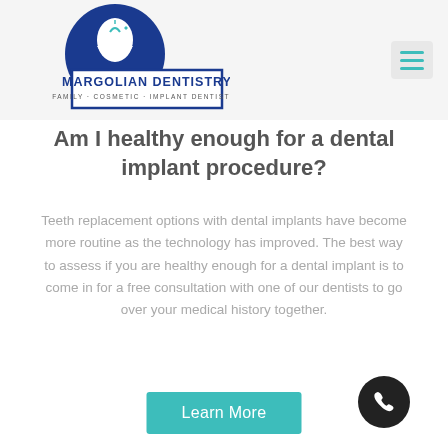[Figure (logo): Margolian Dentistry logo — blue circle with tooth graphic, text reads MARGOLIAN DENTISTRY, FAMILY · COSMETIC · IMPLANT DENTISTRY]
[Figure (other): Hamburger menu icon (three horizontal teal lines) on a light grey background]
Am I healthy enough for a dental implant procedure?
Teeth replacement options with dental implants have become more routine as the technology has improved. The best way to assess if you are healthy enough for a dental implant is to come in for a free consultation with one of our dentists to go over your medical history together.
Learn More
[Figure (other): Dark circular phone call button with white phone icon]